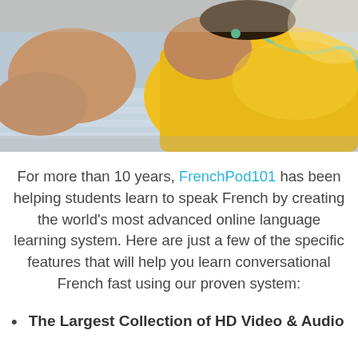[Figure (photo): Person wearing a yellow top and green earphones, lying on a striped surface with a light blue background. Top-down/side view showing shoulders and arms.]
For more than 10 years, FrenchPod101 has been helping students learn to speak French by creating the world's most advanced online language learning system. Here are just a few of the specific features that will help you learn conversational French fast using our proven system:
The Largest Collection of HD Video & Audio Lessons from Real French Instructors